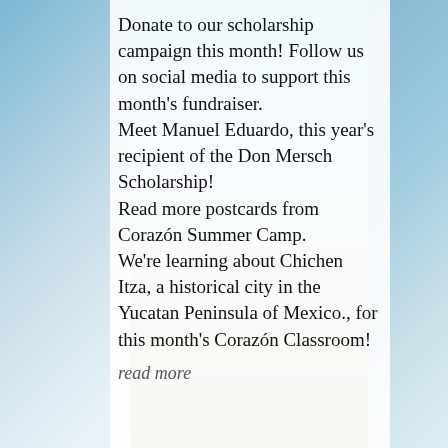[Figure (photo): Outdoor scene with blue sky and buildings, used as background behind a white semi-transparent content panel]
Donate to our scholarship campaign this month! Follow us on social media to support this month's fundraiser.
Meet Manuel Eduardo, this year's recipient of the Don Mersch Scholarship!
Read more postcards from Corazón Summer Camp.
We're learning about Chichen Itza, a historical city in the Yucatan Peninsula of Mexico., for this month's Corazón Classroom!
read more